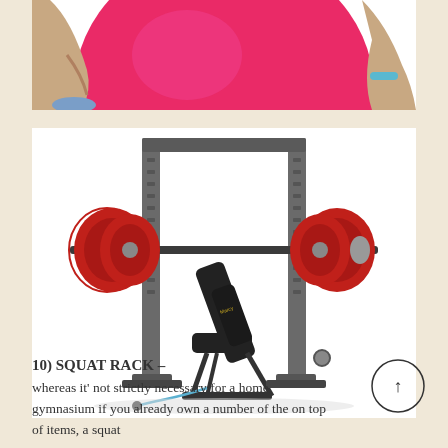[Figure (photo): Partial image showing a person holding a large pink/red exercise ball, cropped at the bottom of the frame.]
[Figure (photo): A squat rack with red barbell weights loaded on the bar, and an adjustable workout bench with cable attachment placed in front of it.]
10) SQUAT RACK –
whereas it' not strictly necessary for a home gymnasium if you already own a number of the on top of items, a squat
[Figure (other): Circular back-to-top button with an upward arrow.]